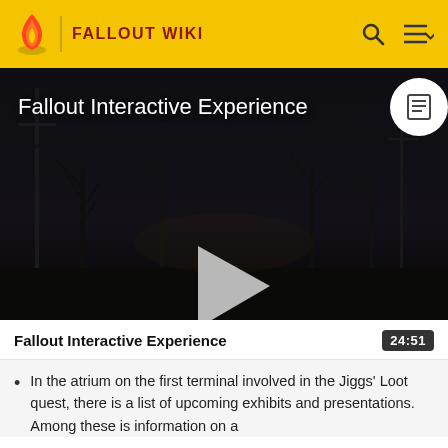FALLOUT WIKI
[Figure (screenshot): Dark post-apocalyptic scene video thumbnail showing 'Fallout Interactive Experience' title overlaid on a night scene with bare trees and utility poles. A large play button triangle is centered. A white circle badge with a document/list icon is in the top-right corner.]
Fallout Interactive Experience
In the atrium on the first terminal involved in the Jiggs' Loot quest, there is a list of upcoming exhibits and presentations. Among these is information on a